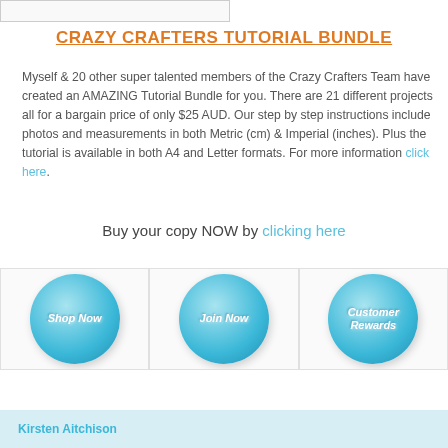[Figure (other): Small rectangular image placeholder at top left]
CRAZY CRAFTERS TUTORIAL BUNDLE
Myself & 20 other super talented members of the Crazy Crafters Team have created an AMAZING Tutorial Bundle for you. There are 21 different projects all for a bargain price of only $25 AUD. Our step by step instructions include photos and measurements in both Metric (cm) & Imperial (inches). Plus the tutorial is available in both A4 and Letter formats. For more information click here.
Buy your copy NOW by clicking here
[Figure (illustration): Three circular blue buttons labeled Shop Now, Join Now, and Customer Rewards]
Kirsten Aitchison